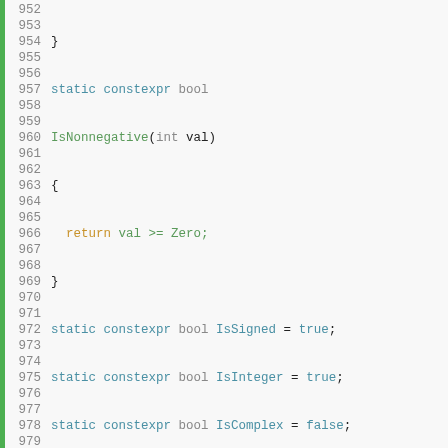[Figure (screenshot): C++ source code snippet showing lines 952-986 with syntax highlighting. Green vertical bar on the left. Line numbers in grey. Keywords 'static constexpr' in blue, function names in green, 'return' in orange, values in green/teal.]